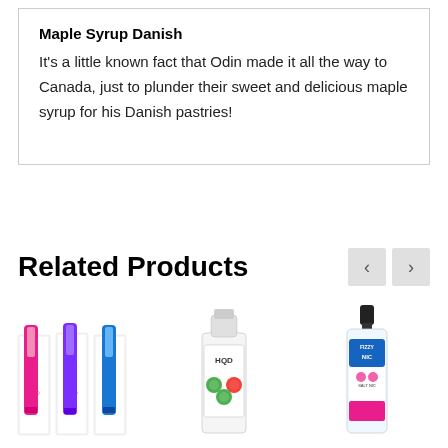Maple Syrup Danish
It's a little known fact that Odin made it all the way to Canada, just to plunder their sweet and delicious maple syrup for his Danish pastries!
Related Products
[Figure (photo): Three disposable vape pens in pink, purple, and blue colorways with retail packaging boxes]
[Figure (photo): 100ml e-liquid bottle with green and red candy-themed label]
[Figure (photo): Nic salt e-liquid bottle with blue and pink Fizzy Nic label]